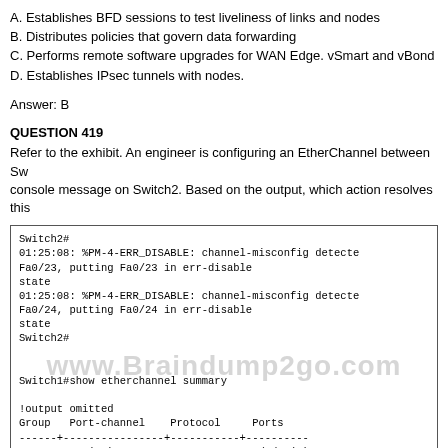A. Establishes BFD sessions to test liveliness of links and nodes
B. Distributes policies that govern data forwarding
C. Performs remote software upgrades for WAN Edge. vSmart and vBond
D. Establishes IPsec tunnels with nodes.
Answer: B
QUESTION 419
Refer to the exhibit. An engineer is configuring an EtherChannel between Sw console message on Switch2. Based on the output, which action resolves this
[Figure (screenshot): Terminal output showing Switch2 err-disable messages for channel-misconfig on Fa0/23 and Fa0/24, Switch1 etherchannel summary showing Group 1, Po2(SD), LACP, Fa1/0/23(D), and Switch2 etherchannel summary header. Watermark: www.Braindump2go.com overlaid.]